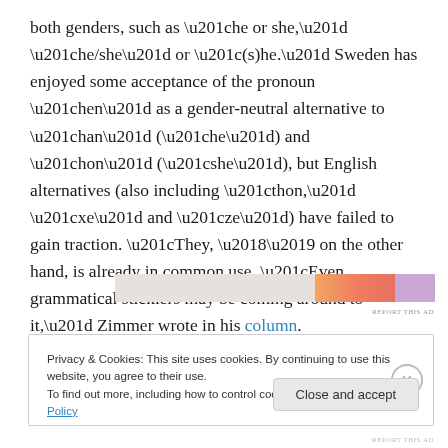both genders, such as “he or she,” “he/she” or “(s)he.” Sweden has enjoyed some acceptance of the pronoun “hen” as a gender-neutral alternative to “han” (“he”) and “hon” (“she”), but English alternatives (also including “thon,” “xe” and “ze”) have failed to gain traction. “They, ‘’ on the other hand, is already in common use. “Even grammatical sticklers may be coming around to it,” Zimmer wrote in his column.
[Figure (other): Advertisement banner with orange and purple gradient colors]
REPORT THIS AD
Privacy & Cookies: This site uses cookies. By continuing to use this website, you agree to their use.
To find out more, including how to control cookies, see here: Cookie Policy
Close and accept